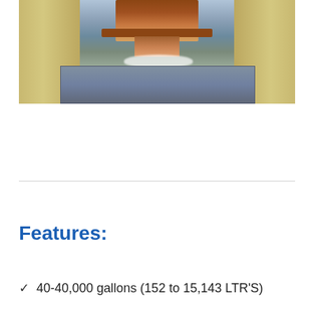[Figure (photo): Industrial machine — appears to be a waterjet or similar cutting/filling machine mounted on a frame, with a nozzle pointing downward toward a metal plate on the floor. Industrial facility background.]
Features:
40-40,000 gallons (152 to 15,143 LTR'S)